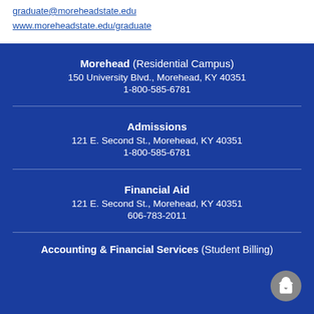graduate@moreheadstate.edu
www.moreheadstate.edu/graduate
Morehead (Residential Campus)
150 University Blvd., Morehead, KY 40351
1-800-585-6781
Admissions
121 E. Second St., Morehead, KY 40351
1-800-585-6781
Financial Aid
121 E. Second St., Morehead, KY 40351
606-783-2011
Accounting & Financial Services (Student Billing)